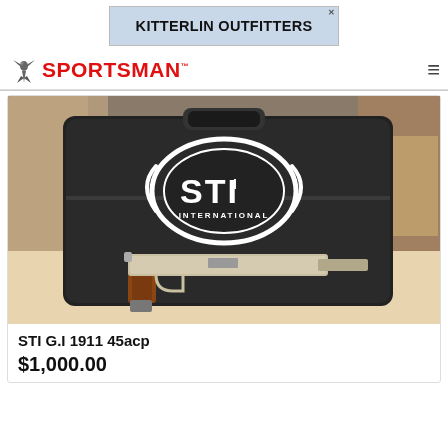[Figure (logo): Kitterlin Outfitters advertisement banner with blue/gray background]
[Figure (logo): Sportsman website logo with red text and bird icon, hamburger menu icon on right]
[Figure (photo): STI International pistol case (black hard case with STI International logo) with a 1911-style pistol in front on a table]
STI G.I 1911 45acp
$1,000.00